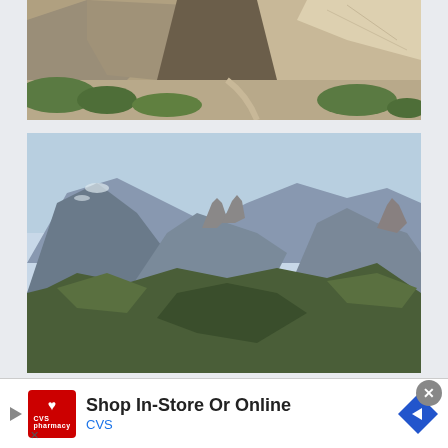[Figure (photo): Rocky canyon trail with large boulders, sparse green shrubs, and rocky cliff face. Outdoor wilderness hiking scene.]
[Figure (photo): Wide panoramic view of a mountain range with forested slopes. Rocky peaks visible against a light blue sky. Desert mountain landscape.]
[Figure (photo): CVS Pharmacy advertisement banner: 'Shop In-Store Or Online' with CVS logo and directional arrow icon.]